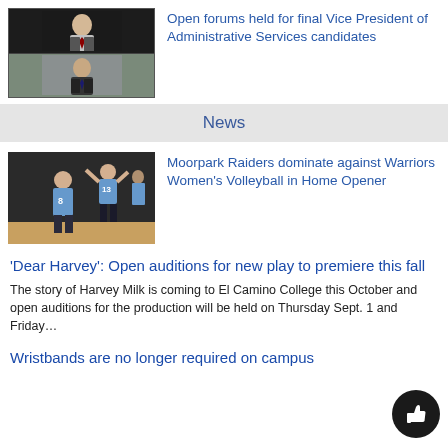[Figure (photo): Video call screenshot showing two men in suits in separate video panels on dark background]
Open forums held for final Vice President of Administrative Services candidates
News
[Figure (photo): Volleyball players in blue uniforms during a match, player number 13 and number 8 visible]
Moorpark Raiders dominate against Warriors Women’s Volleyball in Home Opener
‘Dear Harvey’: Open auditions for new play to premiere this fall
The story of Harvey Milk is coming to El Camino College this October and open auditions for the production will be held on Thursday Sept. 1 and Friday…
Wristbands are no longer required on campus